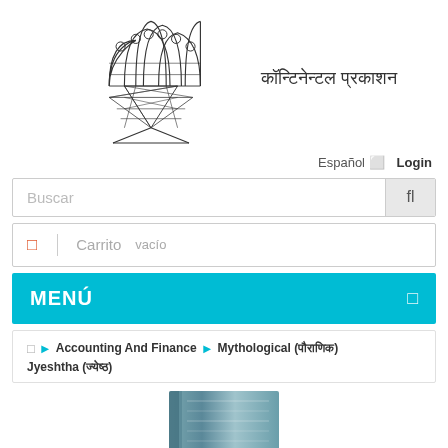[Figure (logo): Continental Prakashan logo with interlocking figures and Hindi text कॉन्टिनेन्टल प्रकाशन]
Español ⬜   Login
Buscar
⬜ | Carrito vacío
MENÚ
⬜ > Accounting And Finance > Mythological (पौराणिक) > Jyeshtha (ज्येष्ठ)
[Figure (photo): Partial book cover thumbnail at bottom of page]